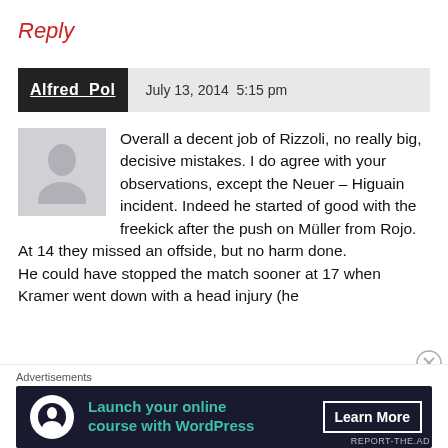Reply
Alfred Pol   July 13, 2014 5:15 pm
Overall a decent job of Rizzoli, no really big, decisive mistakes. I do agree with your observations, except the Neuer – Higuain incident. Indeed he started of good with the freekick after the push on Müller from Rojo.
At 14 they missed an offside, but no harm done.
He could have stopped the match sooner at 17 when Kramer went down with a head injury (he
Advertisements
[Figure (infographic): Advertisement banner: dark background with teal icon and text 'Launch your online course with WordPress' and 'Learn More' button]